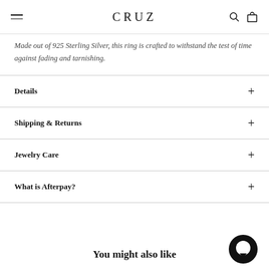CRUZ
Made out of 925 Sterling Silver, this ring is crafted to withstand the test of time against fading and tarnishing.
Details
Shipping & Returns
Jewelry Care
What is Afterpay?
You might also like
[Figure (other): Chat bubble icon (circular speech bubble, black)]